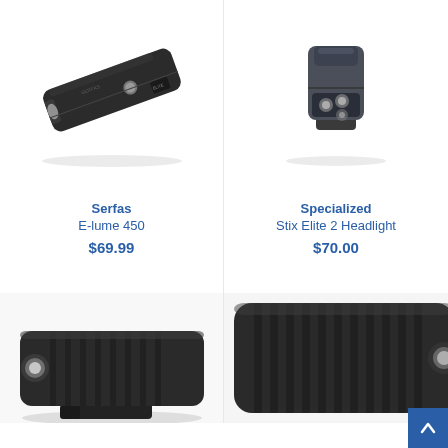[Figure (photo): Serfas E-lume 450 bicycle headlight - black rectangular light shown at an angle from the top]
[Figure (photo): Specialized Stix Elite 2 Headlight - dark grey compact headlight shown from the front at an angle]
Serfas
E-lume 450
$69.99
Specialized
Stix Elite 2 Headlight
$70.00
[Figure (photo): Black bicycle headlight with ribbed casing shown from a front-left angle on a mount]
[Figure (photo): Black cylindrical bicycle headlight with ribbed casing shown at an angle]